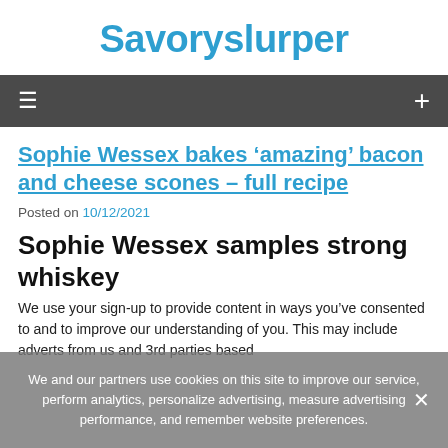Savoryslurper
Sophie Wessex bakes ‘amazing’ bacon and cheese scones – full recipe
Posted on 10/12/2021
Sophie Wessex samples strong whiskey
We use your sign-up to provide content in ways you’ve consented to and to improve our understanding of you. This may include adverts from us and 3rd parties based
We and our partners use cookies on this site to improve our service, perform analytics, personalize advertising, measure advertising performance, and remember website preferences.